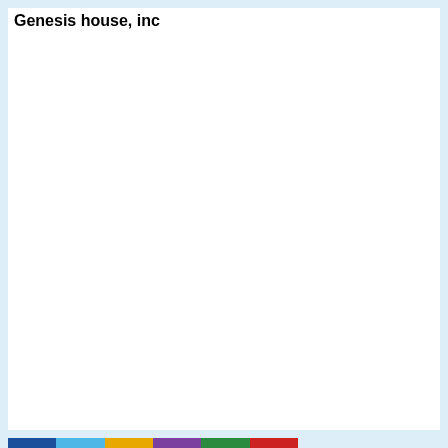Genesis house, inc
[Figure (other): Colored horizontal bar strip at the bottom of the page with segments in blue, cyan, yellow, purple, green, and red]